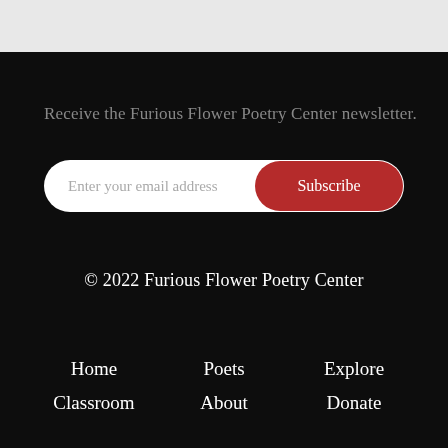Receive the Furious Flower Poetry Center newsletter.
[Figure (screenshot): Email subscription form with white pill-shaped input field containing placeholder text 'Enter your email address' and a red pill-shaped Subscribe button on the right]
© 2022 Furious Flower Poetry Center
Home
Poets
Explore
Classroom
About
Donate